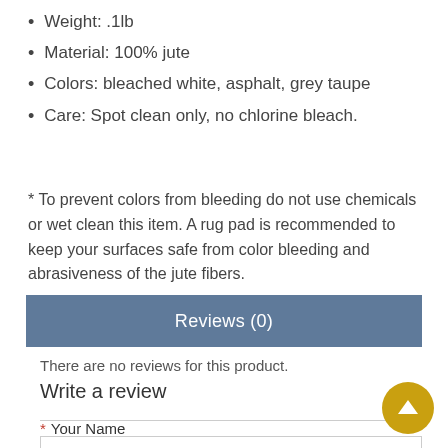Weight: .1lb
Material: 100% jute
Colors: bleached white, asphalt, grey taupe
Care: Spot clean only, no chlorine bleach.
* To prevent colors from bleeding do not use chemicals or wet clean this item. A rug pad is recommended to keep your surfaces safe from color bleeding and abrasiveness of the jute fibers.
Reviews (0)
There are no reviews for this product.
Write a review
* Your Name